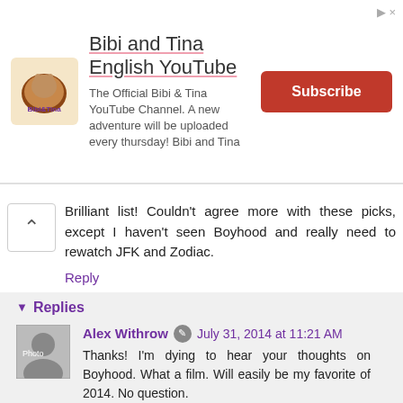[Figure (other): Bibi and Tina YouTube channel advertisement banner with logo, channel title, description, and Subscribe button]
Brilliant list! Couldn't agree more with these picks, except I haven't seen Boyhood and really need to rewatch JFK and Zodiac.
Reply
Replies
Alex Withrow  July 31, 2014 at 11:21 AM
Thanks! I'm dying to hear your thoughts on Boyhood. What a film. Will easily be my favorite of 2014. No question.
Josh  August 22, 2014 at 12:28 PM
Yeah, my favorite of 2014 so far as well. It's amazing! Hawke and Arquette are great, but I'd